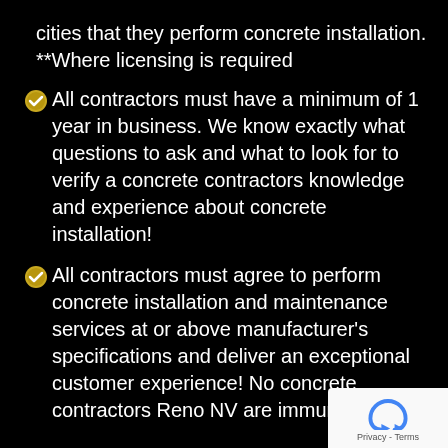cities that they perform concrete installation. **Where licensing is required
All contractors must have a minimum of 1 year in business. We know exactly what questions to ask and what to look for to verify a concrete contractors knowledge and experience about concrete installation!
All contractors must agree to perform concrete installation and maintenance services at or above manufacturer's specifications and deliver an exceptional customer experience! No concrete contractors Reno NV are immune to our
[Figure (logo): reCAPTCHA badge with blue arrow icon and Privacy - Terms text]